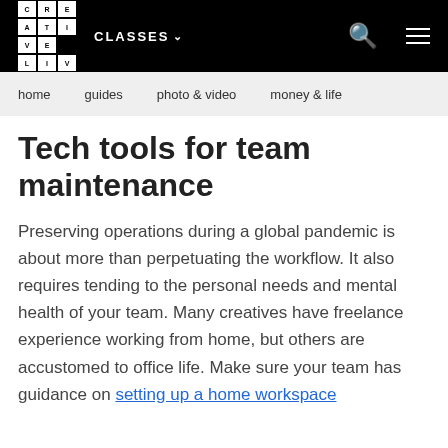CREATIVE LIVE — CLASSES
home   guides   photo & video   money & life
Tech tools for team maintenance
Preserving operations during a global pandemic is about more than perpetuating the workflow. It also requires tending to the personal needs and mental health of your team. Many creatives have freelance experience working from home, but others are accustomed to office life. Make sure your team has guidance on setting up a home workspace